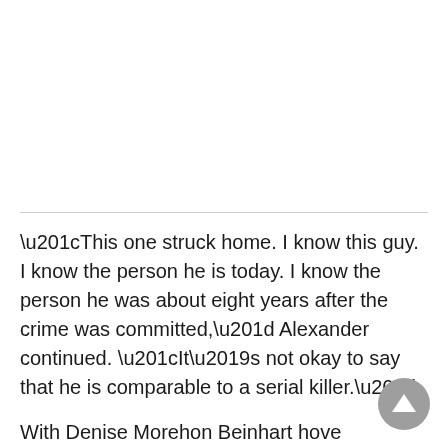“This one struck home. I know this guy. I know the person he is today. I know the person he was about eight years after the crime was committed,” Alexander continued. “It’s not okay to say that he is comparable to a serial killer.”
With Denise Morehon Beinhart hove